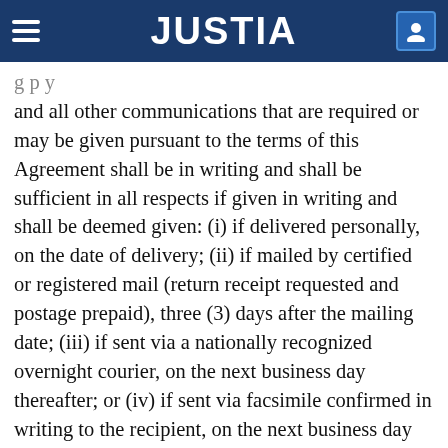JUSTIA
and all other communications that are required or may be given pursuant to the terms of this Agreement shall be in writing and shall be sufficient in all respects if given in writing and shall be deemed given: (i) if delivered personally, on the date of delivery; (ii) if mailed by certified or registered mail (return receipt requested and postage prepaid), three (3) days after the mailing date; (iii) if sent via a nationally recognized overnight courier, on the next business day thereafter; or (iv) if sent via facsimile confirmed in writing to the recipient, on the next business day thereafter. In each of the above cases, notice to the Company should be sent to the Company's principal place of business, notice to the Executive should be sent to his home address most recently on file with the Company, or notice to either the Company or the Executive should be sent to such other